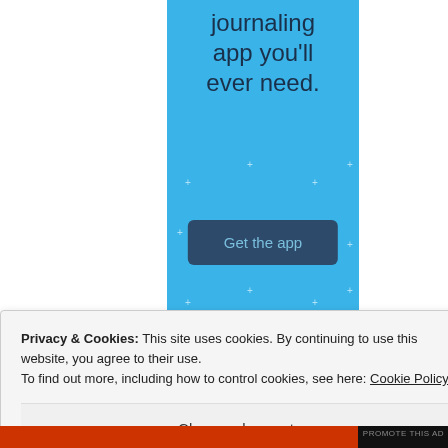[Figure (illustration): Blue app advertisement banner with sparkle/star decorations, text 'journaling app you’ll ever need.' and a dark blue 'Get the app' button]
Privacy & Cookies: This site uses cookies. By continuing to use this website, you agree to their use.
To find out more, including how to control cookies, see here: Cookie Policy
Close and accept